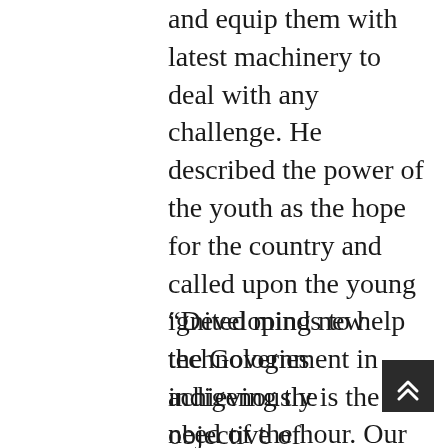and equip them with latest machinery to deal with any challenge. He described the power of the youth as the hope for the country and called upon the young ignited minds to help the Government in achieving the objective of ‘Aatmanirbhar Bharat’.
“Developing new technologies indigenously is the need of the hour. Our vision of ‘Aatmanirbhar Bharat’ is to ensure that advanced technologies are developed domestically. It is extremely important not just for strengthening national